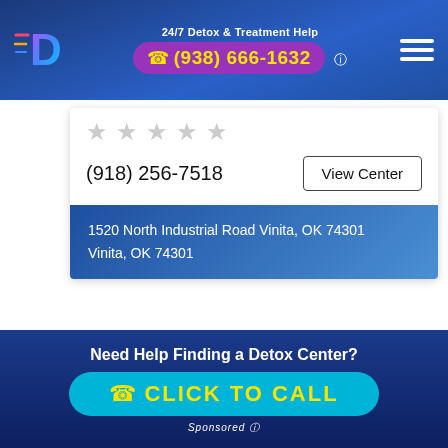24/7 Detox & Treatment Help
☎ (938) 666-1632
[Figure (logo): D logo with colorful speed lines, blue gradient background]
☆☆☆☆☆
(918) 256-7518
View Center
1520 North Industrial Road Vinita, OK 74301
Vinita, OK 74301
☎ (938) 666-1632
Need Help Finding a Detox Center?
✆ CLICK TO CALL
Sponsored ℹ